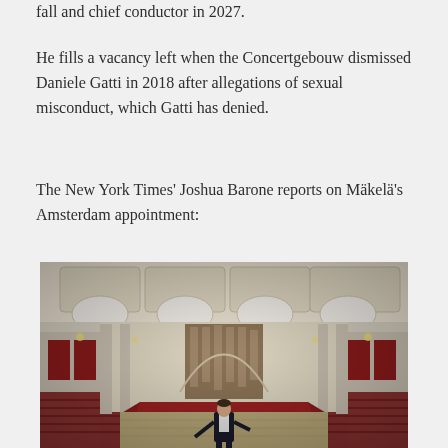fall and chief conductor in 2027.
He fills a vacancy left when the Concertgebouw dismissed Daniele Gatti in 2018 after allegations of sexual misconduct, which Gatti has denied.
The New York Times' Joshua Barone reports on Mäkelä's Amsterdam appointment:
[Figure (photo): Interior of the Concertgebouw concert hall in Amsterdam showing ornate white arched ceiling, red velvet seating, a large pipe organ at the back, and a man in a tuxedo standing on the stage in the foreground.]